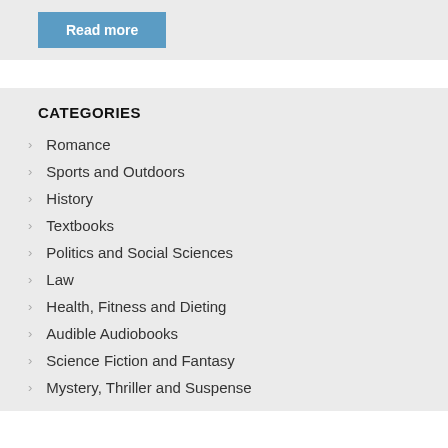Read more
CATEGORIES
Romance
Sports and Outdoors
History
Textbooks
Politics and Social Sciences
Law
Health, Fitness and Dieting
Audible Audiobooks
Science Fiction and Fantasy
Mystery, Thriller and Suspense